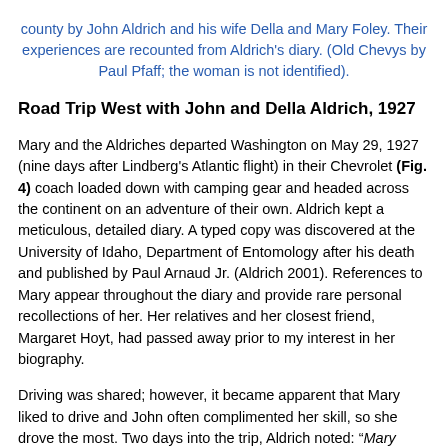county by John Aldrich and his wife Della and Mary Foley. Their experiences are recounted from Aldrich's diary. (Old Chevys by Paul Pfaff; the woman is not identified).
Road Trip West with John and Della Aldrich, 1927
Mary and the Aldriches departed Washington on May 29, 1927 (nine days after Lindberg's Atlantic flight) in their Chevrolet (Fig. 4) coach loaded down with camping gear and headed across the continent on an adventure of their own. Aldrich kept a meticulous, detailed diary. A typed copy was discovered at the University of Idaho, Department of Entomology after his death and published by Paul Arnaud Jr. (Aldrich 2001). References to Mary appear throughout the diary and provide rare personal recollections of her. Her relatives and her closest friend, Margaret Hoyt, had passed away prior to my interest in her biography.
Driving was shared; however, it became apparent that Mary liked to drive and John often complimented her skill, so she drove the most. Two days into the trip, Aldrich noted: "Mary made fast time, keeping around 45." Mary had little opportunity to paint until they reached the Rocky Mountains and a place named Wagon Tongue where Aldrich began collecting flies. Here she made water color paintings of a flower (Doedecatheon) and others not identified. Later, near Wells, Nevada, John packed up  two Schmitt boxes pinned